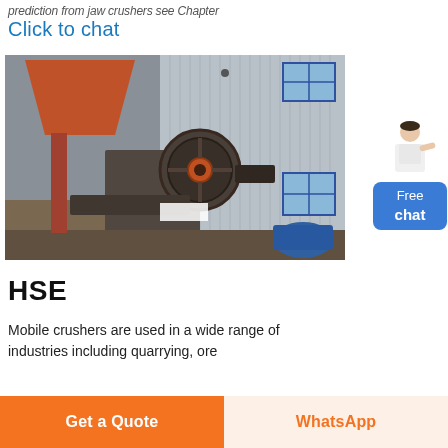prediction from jaw crushers see Chapter
Click to chat
[Figure (photo): Industrial mobile jaw crusher machine with large orange hopper/feeder on the left and a large flywheel/pulley mechanism in the center-right, in front of a corrugated metal building facade.]
HSE
Mobile crushers are used in a wide range of industries including quarrying, ore
Get a Quote | WhatsApp